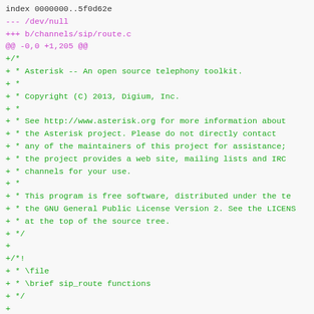index 0000000..5f0d62e
--- /dev/null
+++ b/channels/sip/route.c
@@ -0,0 +1,205 @@
+/*
+ * Asterisk -- An open source telephony toolkit.
+ *
+ * Copyright (C) 2013, Digium, Inc.
+ *
+ * See http://www.asterisk.org for more information about
+ * the Asterisk project. Please do not directly contact
+ * any of the maintainers of this project for assistance;
+ * the project provides a web site, mailing lists and IRC
+ * channels for your use.
+ *
+ * This program is free software, distributed under the te
+ * the GNU General Public License Version 2. See the LICENS
+ * at the top of the source tree.
+ */
+
+/*!
+ * \file
+ * \brief sip_route functions
+ */
+
+/*** MODULEINFO
+        <support_level>core</support_level>
+ ***/
+
+#include "asterisk.h"
+
+ASTERISK_FILE_VERSION( __FILE__ , "$Revision$")